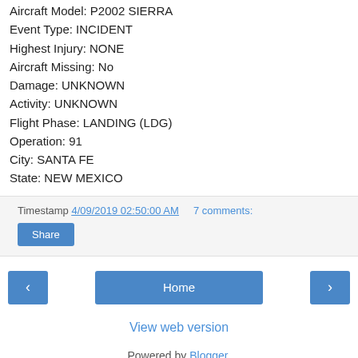Aircraft Model: P2002 SIERRA
Event Type: INCIDENT
Highest Injury: NONE
Aircraft Missing: No
Damage: UNKNOWN
Activity: UNKNOWN
Flight Phase: LANDING (LDG)
Operation: 91
City: SANTA FE
State: NEW MEXICO
Timestamp 4/09/2019 02:50:00 AM  7 comments:
Share
Home
View web version
Powered by Blogger.